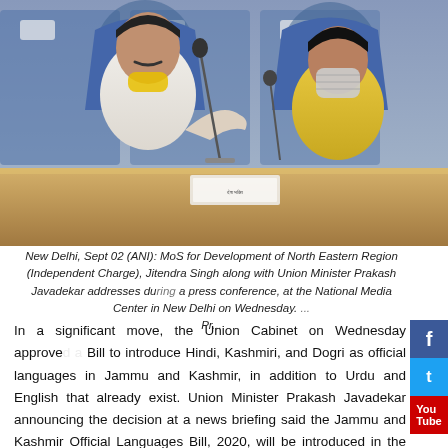[Figure (photo): Two men sitting at a conference table with microphones. The man on the left wears a white outfit with a yellow mask pulled down; the man on the right wears a yellow outfit with a patterned face mask. They appear to be at a press conference at the National Media Center in New Delhi.]
New Delhi, Sept 02 (ANI): MoS for Development of North Eastern Region (Independent Charge), Jitendra Singh along with Union Minister Prakash Javadekar addresses during a press conference, at the National Media Center in New Delhi on Wednesday. Pr...
In a significant move, the Union Cabinet on Wednesday approved a Bill to introduce Hindi, Kashmiri, and Dogri as official languages in Jammu and Kashmir, in addition to Urdu and English that already exist. Union Minister Prakash Javadekar announcing the decision at a news briefing said the Jammu and Kashmir Official Languages Bill, 2020, will be introduced in the upcoming Monsoon Session of